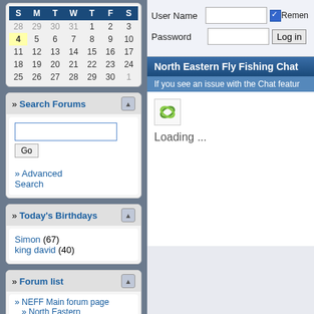[Figure (other): Calendar widget showing a month view with headers S M T W T F S, rows for dates 28-1, 4(highlighted)-10, 11-17, 18-24, 25-1]
» Search Forums
Go
» Advanced Search
» Today's Birthdays
Simon (67)
king david (40)
» Forum list
» NEFF Main forum page
» North Eastern General Discussion
User Name  [input]  Remer
Password  [input]  Log in
North Eastern Fly Fishing Chat
If you see an issue with the Chat featur
Loading ...